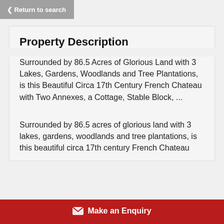Return to search
Property Description
Surrounded by 86.5 Acres of Glorious Land with 3 Lakes, Gardens, Woodlands and Tree Plantations, is this Beautiful Circa 17th Century French Chateau with Two Annexes, a Cottage, Stable Block, ...
Surrounded by 86.5 acres of glorious land with 3 lakes, gardens, woodlands and tree plantations, is this beautiful circa 17th century French Chateau
Make an Enquiry